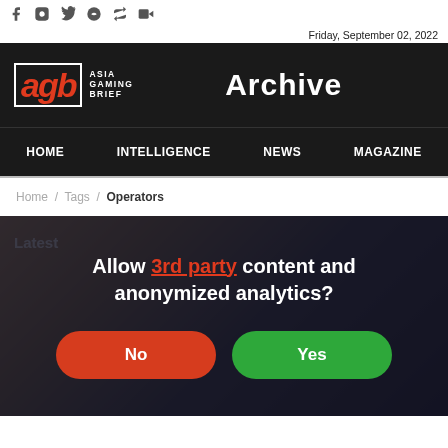Social media icons row
Friday, September 02, 2022
AGB Asia Gaming Brief — Archive
HOME  INTELLIGENCE  NEWS  MAGAZINE
Home / Tags / Operators
Latest
Allow 3rd party content and anonymized analytics?
No
Yes